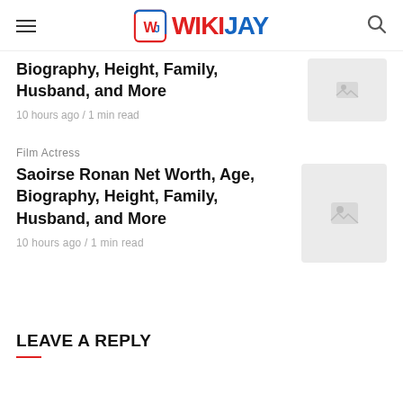WIKIJAY
Biography, Height, Family, Husband, and More
10 hours ago / 1 min read
Film Actress
Saoirse Ronan Net Worth, Age, Biography, Height, Family, Husband, and More
10 hours ago / 1 min read
LEAVE A REPLY